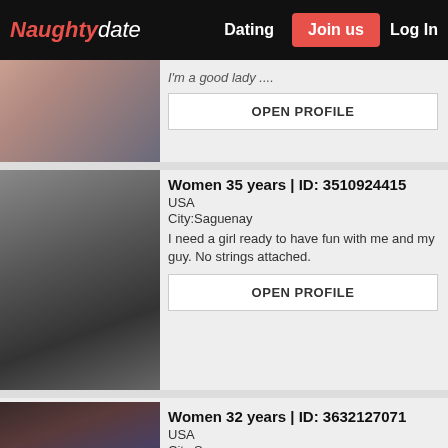Naughtydate | Dating | Join us | Log In
I'm a good lady ....
OPEN PROFILE
Women 35 years | ID: 3510924415
USA
City:Saguenay
I need a girl ready to have fun with me and my guy. No strings attached.
OPEN PROFILE
Women 32 years | ID: 3632127071
USA
City:Saguenay
Husband here looking for well endowed guy for wife. Our hung friend moved away so we're looking for someone to "fill in"